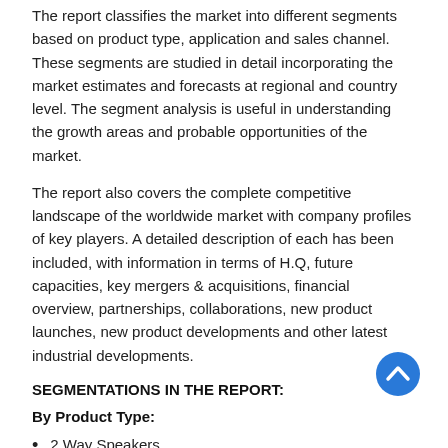The report classifies the market into different segments based on product type, application and sales channel. These segments are studied in detail incorporating the market estimates and forecasts at regional and country level. The segment analysis is useful in understanding the growth areas and probable opportunities of the market.
The report also covers the complete competitive landscape of the worldwide market with company profiles of key players. A detailed description of each has been included, with information in terms of H.Q, future capacities, key mergers & acquisitions, financial overview, partnerships, collaborations, new product launches, new product developments and other latest industrial developments.
SEGMENTATIONS IN THE REPORT:
By Product Type:
2 Way Speakers
3 Way Speakers
4 Way Speakers